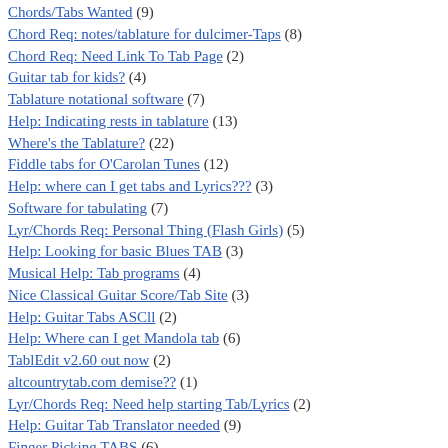Chords/Tabs Wanted (9)
Chord Req: notes/tablature for dulcimer-Taps (8)
Chord Req: Need Link To Tab Page (2)
Guitar tab for kids? (4)
Tablature notational software (7)
Help: Indicating rests in tablature (13)
Where's the Tablature? (22)
Fiddle tabs for O'Carolan Tunes (12)
Help: where can I get tabs and Lyrics??? (3)
Software for tabulating (7)
Lyr/Chords Req: Personal Thing (Flash Girls) (5)
Help: Looking for basic Blues TAB (3)
Musical Help: Tab programs (4)
Nice Classical Guitar Score/Tab Site (3)
Help: Guitar Tabs ASCll (2)
Help: Where can I get Mandola tab (6)
TablEdit v2.60 out now (2)
altcountrytab.com demise?? (1)
Lyr/Chords Req: Need help starting Tab/Lyrics (2)
Help: Guitar Tab Translator needed (9)
Finger Picking TABS (6)
Concertina Tablature? (7)
Lyr/Chords Req: celtic banjo tabs (7)
Help: i need blues guitar tabs (7)
TablEdit transcription software (7)
searching for banjotabs for Irish reels (5)
Tabs for some old-time songs (4)
Help: guitar tabs for songs (3)